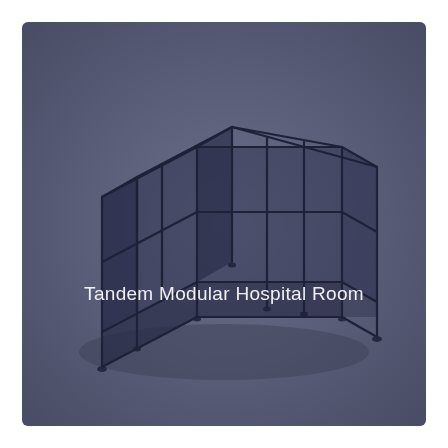[Figure (illustration): 3D isometric illustration of a Tandem Modular Hospital Room — a dark navy/steel frame structure showing two connected rectangular room modules with transparent walls, vertical posts, and horizontal rails, rendered on a muted slate-blue background. The label 'Tandem Modular Hospital Room' appears in white text overlaid on the center of the image.]